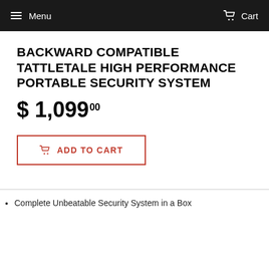Menu   Cart
BACKWARD COMPATIBLE TATTLETALE HIGH PERFORMANCE PORTABLE SECURITY SYSTEM
$ 1,09900
[Figure (other): Add to Cart button with shopping cart icon, red border]
Complete Unbeatable Security System in a Box